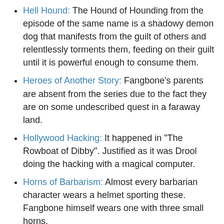Hell Hound: The Hound of Hounding from the episode of the same name is a shadowy demon dog that manifests from the guilt of others and relentlessly torments them, feeding on their guilt until it is powerful enough to consume them.
Heroes of Another Story: Fangbone's parents are absent from the series due to the fact they are on some undescribed quest in a faraway land.
Hollywood Hacking: It happened in "The Rowboat of Dibby". Justified as it was Drool doing the hacking with a magical computer.
Horns of Barbarism: Almost every barbarian character wears a helmet sporting these. Fangbone himself wears one with three small horns.
Human Aliens: The Skullbanians are the barbarian-like inhabitants of Another Dimension who possess immense strength and ferocity, but are so human-like they can live on Earth and pass off for ordinary people.